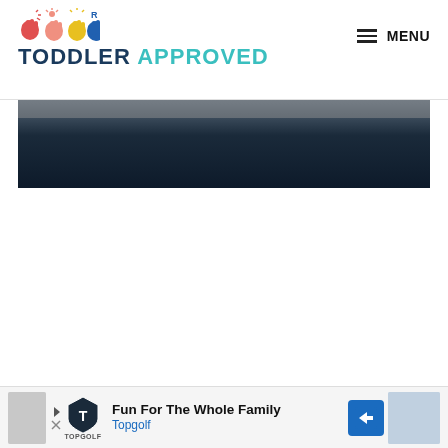TODDLER APPROVED — MENU
[Figure (photo): Dark blue/black hero image banner, partially visible at top]
[Figure (photo): White empty content area]
[Figure (infographic): Advertisement bar at bottom: Fun For The Whole Family — Topgolf. Contains Topgolf logo, navigation arrow, close button, and a blue direction sign icon on the right.]